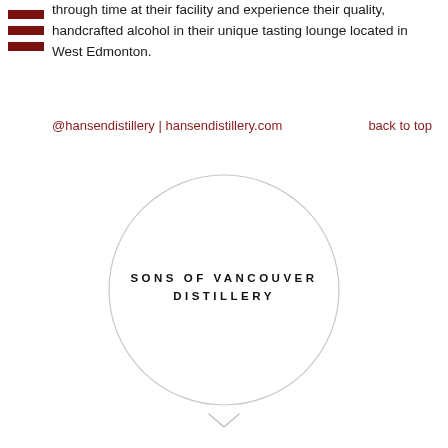through time at their facility and experience their quality, handcrafted alcohol in their unique tasting lounge located in West Edmonton.
@hansendistillery | hansendistillery.com    back to top
[Figure (illustration): A large light gray circle outline centered on the page with the text 'SONS OF VANCOUVER DISTILLERY' in bold uppercase spaced lettering centered inside it. Below the circle there is a small downward-pointing chevron arrow.]